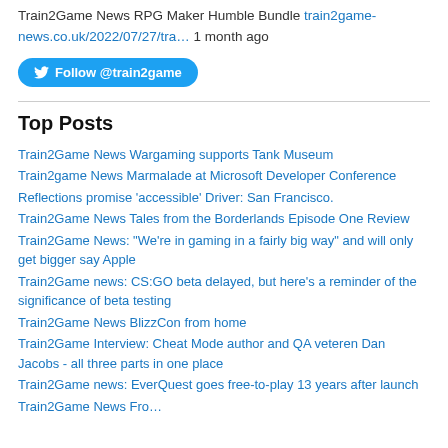Train2Game News RPG Maker Humble Bundle train2game-news.co.uk/2022/07/27/tra… 1 month ago
Follow @train2game
Top Posts
Train2Game News Wargaming supports Tank Museum
Train2game News Marmalade at Microsoft Developer Conference
Reflections promise 'accessible' Driver: San Francisco.
Train2Game News Tales from the Borderlands Episode One Review
Train2Game News: "We're in gaming in a fairly big way" and will only get bigger say Apple
Train2Game news: CS:GO beta delayed, but here's a reminder of the significance of beta testing
Train2Game News BlizzCon from home
Train2Game Interview: Cheat Mode author and QA veteren Dan Jacobs - all three parts in one place
Train2Game news: EverQuest goes free-to-play 13 years after launch